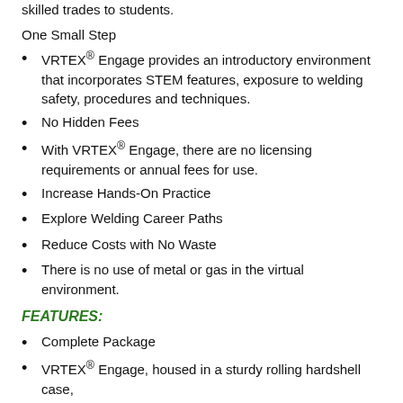skilled trades to students.
One Small Step
VRTEX® Engage provides an introductory environment that incorporates STEM features, exposure to welding safety, procedures and techniques.
No Hidden Fees
With VRTEX® Engage, there are no licensing requirements or annual fees for use.
Increase Hands-On Practice
Explore Welding Career Paths
Reduce Costs with No Waste
There is no use of metal or gas in the virtual environment.
FEATURES:
Complete Package
VRTEX® Engage, housed in a sturdy rolling hardshell case,